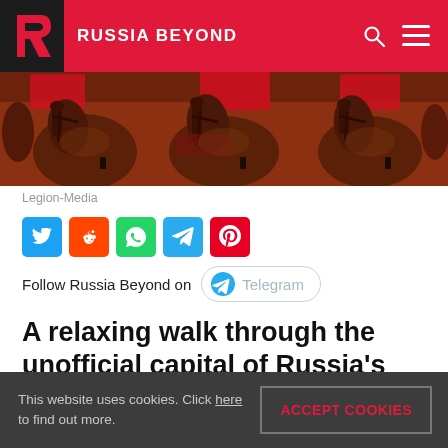RUSSIA BEYOND
[Figure (photo): Horses with riders in red military uniforms — close-up of horse heads and bridles/tack]
Legion-Media
[Figure (infographic): Social share buttons: Twitter, Reddit, WhatsApp, Telegram, Pinterest]
Follow Russia Beyond on Telegram
A relaxing walk through the unofficial capital of Russia's south.
This website uses cookies. Click here to find out more.